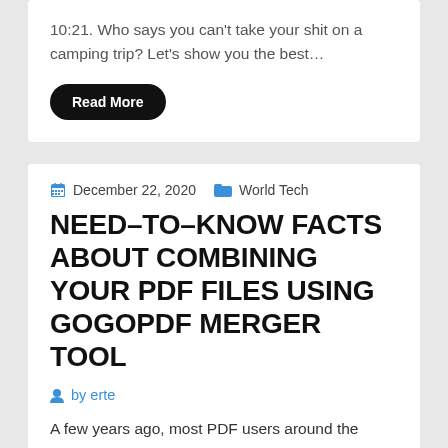10:21. Who says you can't take your shit on a camping trip? Let's show you the best…
Read More
December 22, 2020   World Tech
NEED-TO-KNOW FACTS ABOUT COMBINING YOUR PDF FILES USING GOGOPDF MERGER TOOL
by erte
A few years ago, most PDF users around the world found it difficult to manage them. Today, you can